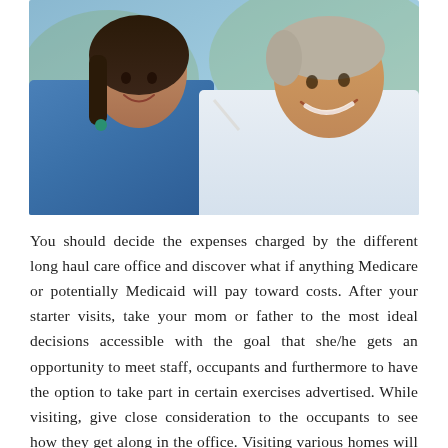[Figure (photo): A nurse or caregiver in blue scrubs talking with an elderly woman in a white shirt who is smiling, with an outdoor blurred background.]
You should decide the expenses charged by the different long haul care office and discover what if anything Medicare or potentially Medicaid will pay toward costs. After your starter visits, take your mom or father to the most ideal decisions accessible with the goal that she/he gets an opportunity to meet staff, occupants and furthermore to have the option to take part in certain exercises advertised. While visiting, give close consideration to the occupants to see how they get along in the office. Visiting various homes will enable your older parent to have dynamic association in the choice in regards to where the person will reside. Upon confirmation be ready to finish up heaps of structures. Before the move converse with staff to guarantee you will have all the οικος ευγηριας θεσσαλονικη necessary data. Another